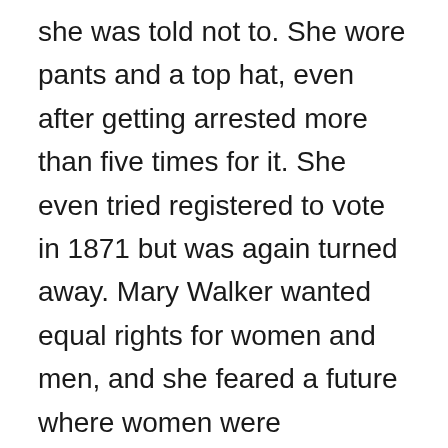she was told not to. She wore pants and a top hat, even after getting arrested more than five times for it. She even tried registered to vote in 1871 but was again turned away. Mary Walker wanted equal rights for women and men, and she feared a future where women were continually forced to fit in the gender roles of society. She felt that “the greatest sorrows from which women suffer today are those physical, moral and mental ones, that are caused